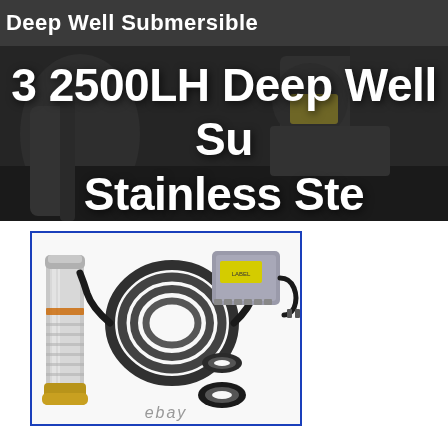Deep Well Submersible
[Figure (photo): Hero banner image showing a deep well submersible pump in a dark workshop/industrial setting, with large white bold text overlay reading '3 2500LH Deep Well Su... Stainless Ste...' (text is cropped on the right side)]
[Figure (photo): Product listing photo of a deep well submersible pump kit showing: a stainless steel cylindrical pump body, a coiled black electrical cable, a gray control box/capacitor with yellow label and power cord, and two black rubber O-ring/gasket fittings. Image is framed with a blue border and has 'ebay' watermark at the bottom.]